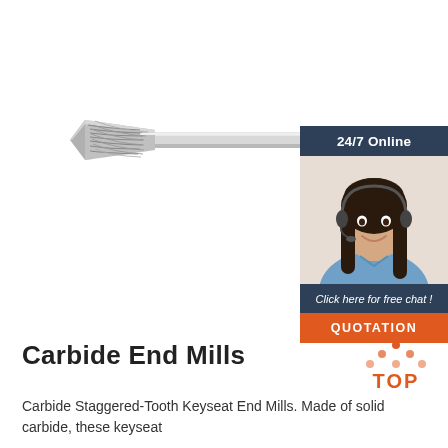[Figure (photo): A carbide staggered-tooth keyseat end mill tool with spiral flutes on the cutting head and a long cylindrical shank, shown horizontally on a white background.]
[Figure (infographic): Customer support chat widget showing a dark blue header with '24/7 Online' text, a photo of a smiling woman with a headset, a dark blue footer with italic text 'Click here for free chat!', and an orange 'QUOTATION' button below.]
Carbide End Mills
[Figure (logo): Orange 'TOP' badge with orange dot pattern arranged as a triangle above the word TOP in orange bold letters.]
Carbide Staggered-Tooth Keyseat End Mills. Made of solid carbide, these keyseat